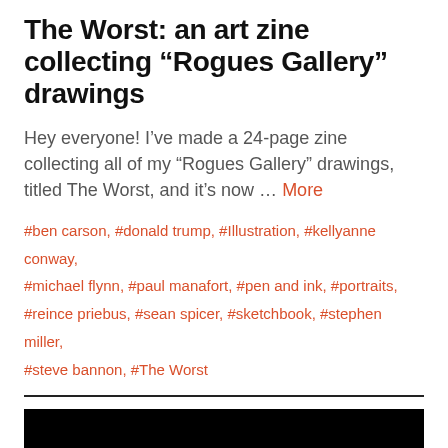The Worst: an art zine collecting “Rogues Gallery” drawings
Hey everyone! I’ve made a 24-page zine collecting all of my “Rogues Gallery” drawings, titled The Worst, and it’s now … More
#ben carson, #donald trump, #Illustration, #kellyanne conway, #michael flynn, #paul manafort, #pen and ink, #portraits, #reince priebus, #sean spicer, #sketchbook, #stephen miller, #steve bannon, #The Worst
[Figure (photo): A dark/black image, likely a photo or artwork preview, mostly black with faint details.]